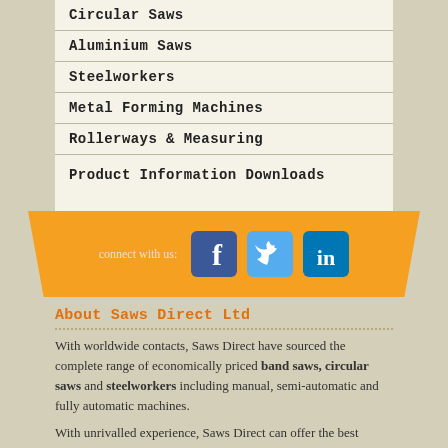Circular Saws
Aluminium Saws
Steelworkers
Metal Forming Machines
Rollerways & Measuring
Product Information Downloads
[Figure (logo): Orange social media banner with Facebook, Twitter, and LinkedIn icons and 'connect with us:' text]
About Saws Direct Ltd
With worldwide contacts, Saws Direct have sourced the complete range of economically priced band saws, circular saws and steelworkers including manual, semi-automatic and fully automatic machines.
With unrivalled experience, Saws Direct can offer the best